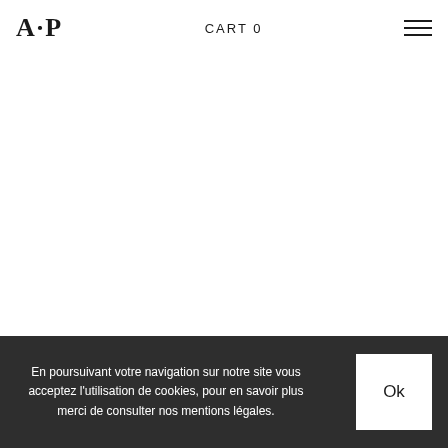A·P  CART 0  ☰
En poursuivant votre navigation sur notre site vous acceptez l'utilisation de cookies, pour en savoir plus merci de consulter nos mentions légales.
Ok